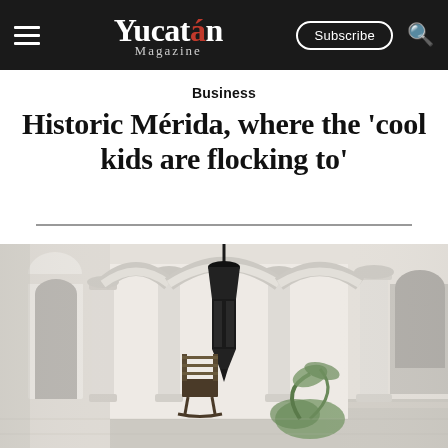Yucatán Magazine — Subscribe
Business
Historic Mérida, where the 'cool kids are flocking to'
[Figure (photo): Interior corridor of a white colonial building in Mérida, Mexico, featuring arched doorways, tall white columns with ornate capitals, a dark hanging lantern, a rocking chair, and tropical plants in the background.]